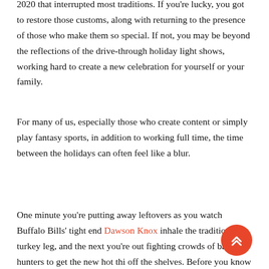2020 that interrupted most traditions. If you're lucky, you got to restore those customs, along with returning to the presence of those who make them so special. If not, you may be beyond the reflections of the drive-through holiday light shows, working hard to create a new celebration for yourself or your family.
For many of us, especially those who create content or simply play fantasy sports, in addition to working full time, the time between the holidays can often feel like a blur.
One minute you're putting away leftovers as you watch Buffalo Bills' tight end Dawson Knox inhale the traditional turkey leg, and the next you're out fighting crowds of bargain hunters to get the new hot thi off the shelves. Before you know it, you're finishing